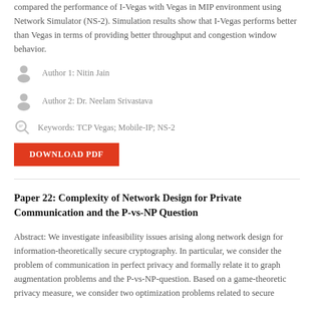compared the performance of I-Vegas with Vegas in MIP environment using Network Simulator (NS-2). Simulation results show that I-Vegas performs better than Vegas in terms of providing better throughput and congestion window behavior.
Author 1: Nitin Jain
Author 2: Dr. Neelam Srivastava
Keywords: TCP Vegas; Mobile-IP; NS-2
DOWNLOAD PDF
Paper 22: Complexity of Network Design for Private Communication and the P-vs-NP Question
Abstract: We investigate infeasibility issues arising along network design for information-theoretically secure cryptography. In particular, we consider the problem of communication in perfect privacy and formally relate it to graph augmentation problems and the P-vs-NP-question. Based on a game-theoretic privacy measure, we consider two optimization problems related to secure